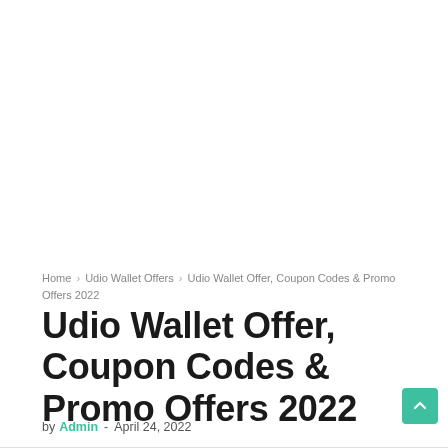Home › Udio Wallet Offers › Udio Wallet Offer, Coupon Codes & Promo Offers 2022
Udio Wallet Offer, Coupon Codes & Promo Offers 2022
by Admin - April 24, 2022